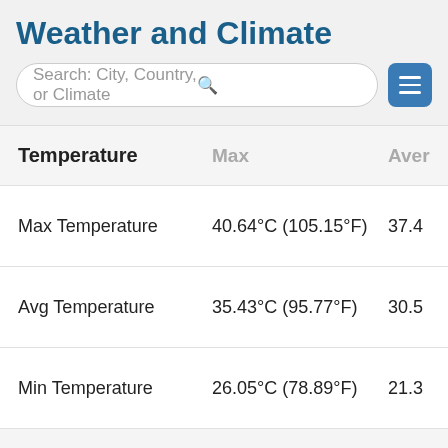Weather and Climate
| Temperature | Max | Aver... |
| --- | --- | --- |
| Max Temperature | 40.64°C (105.15°F) | 37.4... |
| Avg Temperature | 35.43°C (95.77°F) | 30.5... |
| Min Temperature | 26.05°C (78.89°F) | 21.3... |
| Dew Point (header) | Max | Aver... |
| Dew Point | 15.63°C (60.13°F) | -3.31... |
| Precipitation (header) | Max |  |
| Precipitation | 2.29mm | 0.09in | 0.1m... |